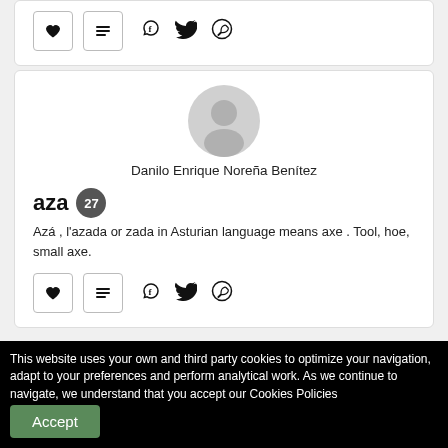[Figure (other): Action buttons row: heart/like button, list button, Facebook share, Twitter share, WhatsApp share]
[Figure (illustration): User avatar placeholder circle (grey)]
Danilo Enrique Noreña Benítez
aza 27
Azá , l'azada or zada in Asturian language means axe . Tool, hoe, small axe.
[Figure (other): Action buttons row: heart/like button, list button, Facebook share, Twitter share, WhatsApp share]
[Figure (illustration): User avatar placeholder circle (grey) - partial, bottom card]
This website uses your own and third party cookies to optimize your navigation, adapt to your preferences and perform analytical work. As we continue to navigate, we understand that you accept our Cookies Policies
Accept